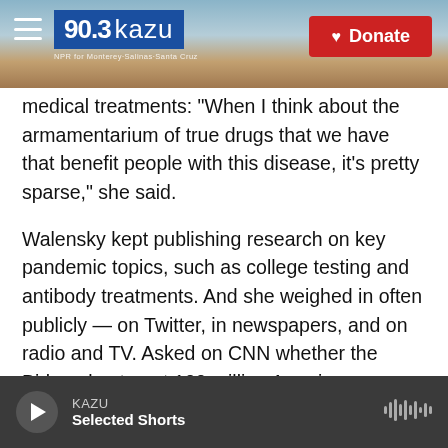90.3 kazu | Donate
medical treatments: "When I think about the armamentarium of true drugs that we have that benefit people with this disease, it's pretty sparse," she said.
Walensky kept publishing research on key pandemic topics, such as college testing and antibody treatments. And she weighed in often publicly — on Twitter, in newspapers, and on radio and TV. Asked on CNN whether the Biden plan to get 100 million Americans vaccinated in 100 days could restore a sense of normalcy, she responded with characteristic bluntness — a quality that could
KAZU
Selected Shorts